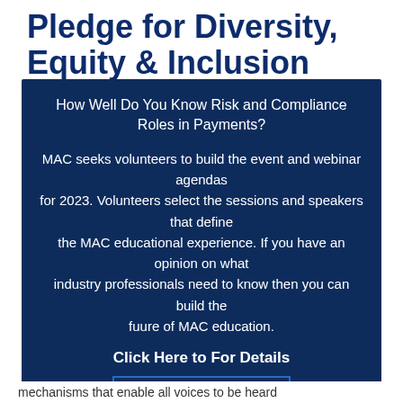Pledge for Diversity, Equity & Inclusion
To help protect the integrity of the payment
[Figure (infographic): Dark blue modal overlay containing text about MAC volunteer opportunities for Risk and Compliance Roles in Payments, with a Click Here to For Details link and an ACKNOWLEDGE button.]
mechanisms that enable all voices to be heard